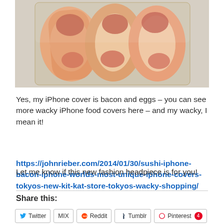[Figure (photo): Close-up photo of bacon strips in a clear container on a textured surface, appearing like an iPhone food cover]
Yes, my iPhone cover is bacon and eggs – you can see more wacky iPhone food covers here – and my wacky, I mean it!
https://johnrieber.com/2014/01/30/sushi-iphone-bacon-iphone-worlds-most-unique-iphone-covers-tokyos-new-kit-kat-store-tokyos-wacky-shopping/
Let me know if this new fashion headpiece is for you!
Share this:
Twitter  MIX  Reddit  Tumblr  Pinterest 4